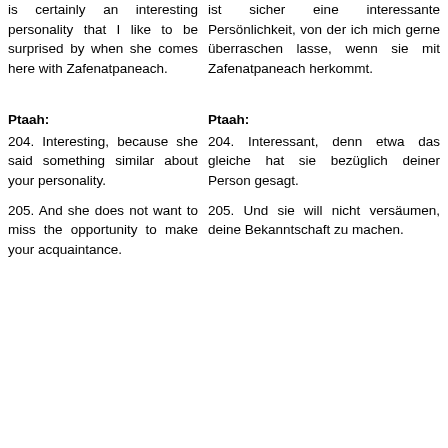is certainly an interesting personality that I like to be surprised by when she comes here with Zafenatpaneach.
ist sicher eine interessante Persönlichkeit, von der ich mich gerne überraschen lasse, wenn sie mit Zafenatpaneach herkommt.
Ptaah:
Ptaah:
204. Interesting, because she said something similar about your personality.
204. Interessant, denn etwa das gleiche hat sie bezüglich deiner Person gesagt.
205. And she does not want to miss the opportunity to make your acquaintance.
205. Und sie will nicht versäumen, deine Bekanntschaft zu machen.